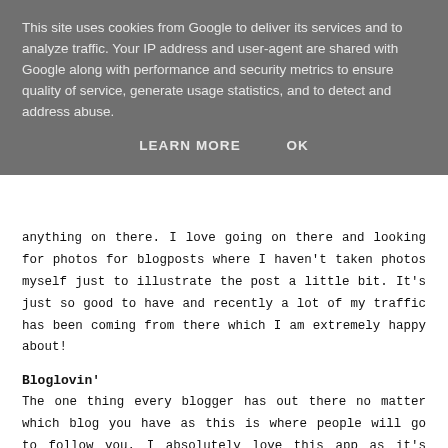This site uses cookies from Google to deliver its services and to analyze traffic. Your IP address and user-agent are shared with Google along with performance and security metrics to ensure quality of service, generate usage statistics, and to detect and address abuse.
LEARN MORE   OK
anything on there. I love going on there and looking for photos for blogposts where I haven't taken photos myself just to illustrate the post a little bit. It's just so good to have and recently a lot of my traffic has been coming from there which I am extremely happy about!
Bloglovin'
The one thing every blogger has out there no matter which blog you have as this is where people will go to follow you. I absolutely love this app as it's super easy to read and follow different blogs in different categories too. I also love the analytics section as you can see where your blog is ranked.